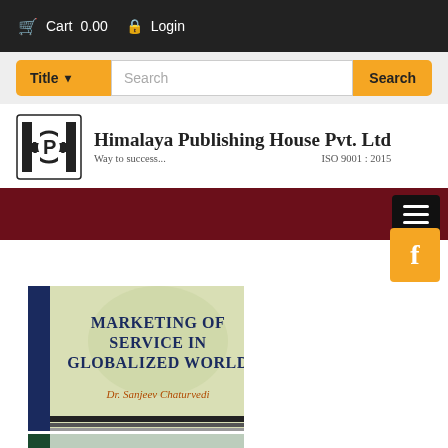Cart 0.00  Login
Title (dropdown)  Search  Search
[Figure (logo): Himalaya Publishing House Pvt. Ltd logo with HPH monogram, 'Way to success...' tagline, ISO 9001:2015]
Himalaya Publishing House Pvt. Ltd
Way to success...  ISO 9001 : 2015
[Figure (other): Dark red navigation menu bar with hamburger menu button on right]
[Figure (other): Orange Facebook button on right side]
[Figure (photo): Book cover: Marketing of Service in Globalized World by Dr. Sanjeev Chaturvedi, published by Himalaya Publishing House]